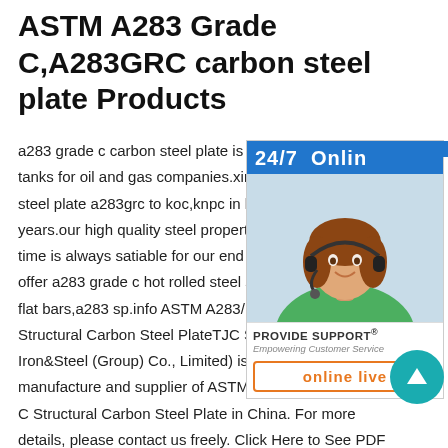ASTM A283 Grade C,A283GRC carbon steel plate Products
a283 grade c carbon steel plate is mainly tanks for oil and gas companies.xinsteel steel plate a283grc to koc,knpc in kuwait years.our high quality steel property and time is always satiable for our end users. offer a283 grade c hot rolled steel sheet flat bars,a283 sp.info ASTM A283/ A283 Structural Carbon Steel PlateTJC Steel ( Iron&Steel (Group) Co., Limited) is the most compr manufacture and supplier of ASTM A283/ A283M C Structural Carbon Steel Plate in China. For more details, please contact us freely. Click Here to See PDF Details for ASTM A283/ A283M Grade C Structural
[Figure (infographic): Customer support widget with blue header showing '24/7 Online', photo of a woman with headset, 'PROVIDE SUPPORT' brand text with tagline 'Empowering Customer Service', and orange-bordered 'online live' button. Chinese tab on right reading '在线咨询'. Teal circular up-arrow button overlapping bottom-right.]